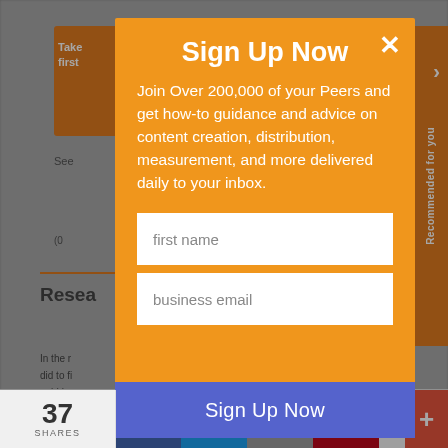[Figure (screenshot): Background webpage content showing article with orange box, text, and social sharing bar]
Sign Up Now
Join Over 200,000 of your Peers and get how-to guidance and advice on content creation, distribution, measurement, and more delivered daily to your inbox.
first name
business email
Sign Up Now
37
SHARES